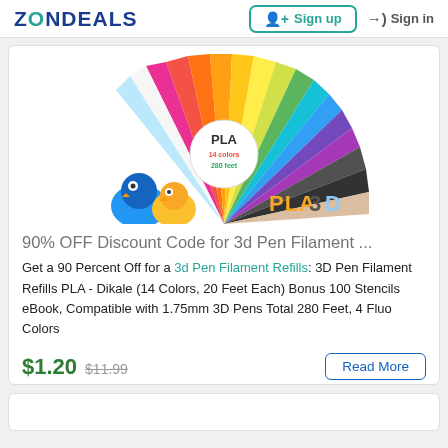ZONDEALS | Sign up | Sign in
[Figure (photo): Product image showing a colorful fan of 3D pen filament strands in multiple colors arranged in a semicircle, with cartoon bird figurines and 'PLA 3D' text.]
90% OFF Discount Code for 3d Pen Filament ...
Get a 90 Percent Off for a 3d Pen Filament Refills: 3D Pen Filament Refills PLA - Dikale (14 Colors, 20 Feet Each) Bonus 100 Stencils eBook, Compatible with 1.75mm 3D Pens Total 280 Feet, 4 Fluo Colors
$1.20  $11.99
Read More